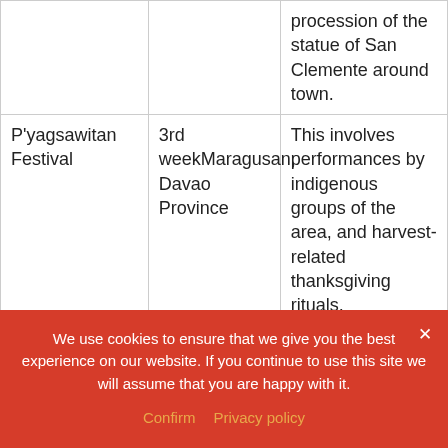|  |  | procession of the statue of San Clemente around town. |
| P'yagsawitan Festival | 3rd weekMaragusan, Davao Province | This involves performances by indigenous groups of the area, and harvest-related thanksgiving rituals. |
| Kawayanan | 3rd weekCapitol | This celebrates |
We use cookies to ensure that we give you the best experience on our website. If you continue to use this site we will assume that you are happy with it.